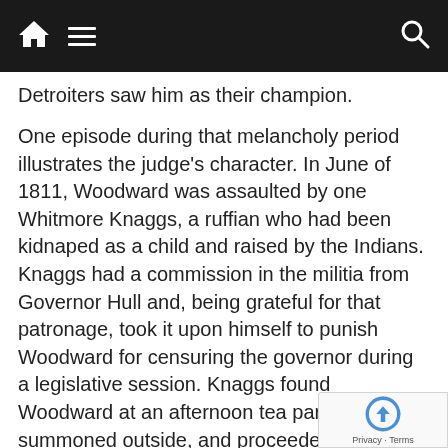[Navigation bar with home, menu, and search icons]
Detroiters saw him as their champion.
One episode during that melancholy period illustrates the judge's character. In June of 1811, Woodward was assaulted by one Whitmore Knaggs, a ruffian who had been kidnaped as a child and raised by the Indians. Knaggs had a commission in the militia from Governor Hull and, being grateful for that patronage, took it upon himself to punish Woodward for censuring the governor during a legislative session. Knaggs found Woodward at an afternoon tea party, had him summoned outside, and proceeded to berate and threaten the judge, shaking his fist in Woodward's face and finally hitting him in the chest, causing him to stumble backwards. Woodward rose to the challenge and the two men exchanged blows until they we…